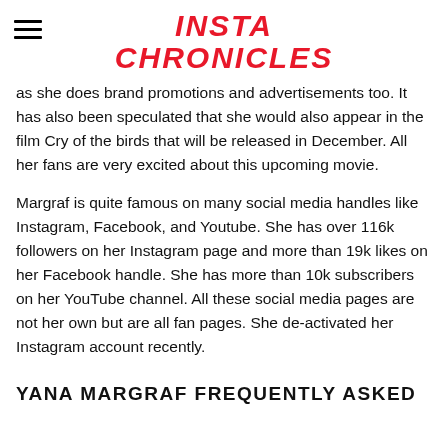INSTA CHRONICLES
as she does brand promotions and advertisements too. It has also been speculated that she would also appear in the film Cry of the birds that will be released in December. All her fans are very excited about this upcoming movie.
Margraf is quite famous on many social media handles like Instagram, Facebook, and Youtube. She has over 116k followers on her Instagram page and more than 19k likes on her Facebook handle. She has more than 10k subscribers on her YouTube channel. All these social media pages are not her own but are all fan pages. She de-activated her Instagram account recently.
YANA MARGRAF FREQUENTLY ASKED